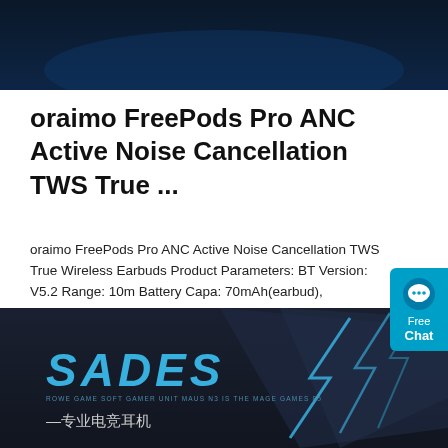[Figure (photo): Dark navy/black product background image at top of page]
oraimo FreePods Pro ANC Active Noise Cancellation TWS True ...
oraimo FreePods Pro ANC Active Noise Cancellation TWS True Wireless Earbuds Product Parameters: BT Version: V5.2 Range: 10m Battery Capa: 70mAh(earbud), 510mAh(case) Music Playtime: Up to 13 hours Case provides additional 30 hours (ANC OFF)Up to 9
[Figure (screenshot): Blue chat widget on right side with message bubble icon and Free Chat text]
[Figure (illustration): Get Price orange button]
[Figure (photo): SADES gaming headset advertisement banner at bottom with dark metallic background and blue lightning accents]